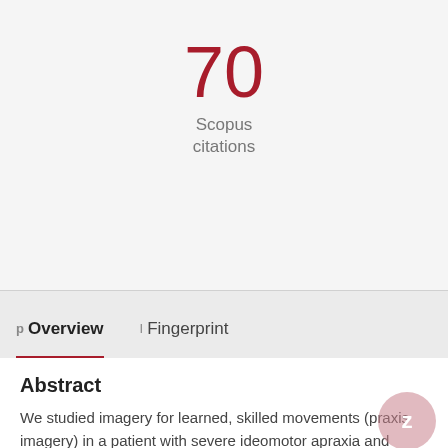70
Scopus citations
p Overview   I Fingerprint
Abstract
We studied imagery for learned, skilled movements (praxis imagery) in a patient with severe ideomotor apraxia and intact language abilities. This patient, who made